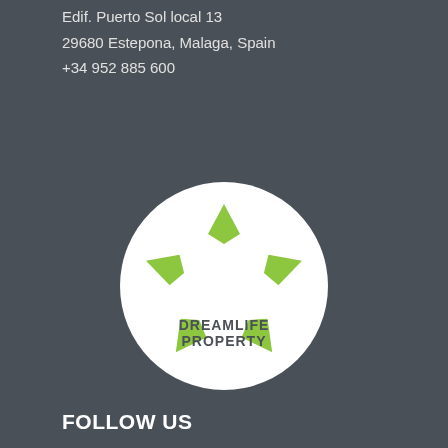Edif. Puerto Sol local 13
29680 Estepona, Malaga, Spain
+34 952 885 600
[Figure (logo): Dreamlife Property logo: white circle with green five-pointed star/pentagon shape and text DREAMLIFE PROPERTY below]
FOLLOW US
Dreamlife Property Costa del Sol
[Figure (other): Facebook and YouTube social media icons]